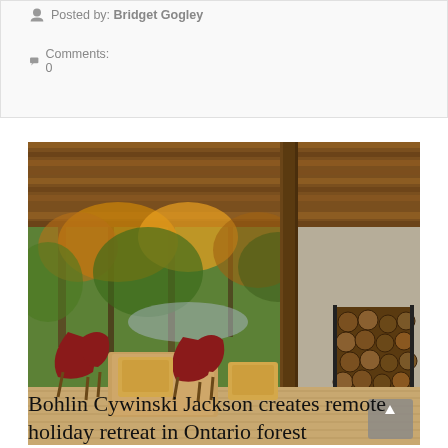Posted by: Bridget Gogley
Comments: 0
[Figure (photo): Interior photo of a modern forest cabin retreat. A covered outdoor or semi-outdoor living area with a wooden ceiling, floor-to-ceiling glass walls overlooking autumn forest trees. Two red butterfly chairs and wooden lounge furniture arranged around a low coffee table. A stack of firewood is visible on the right side next to a concrete wall. The scene is warm and surrounded by colourful fall foliage.]
Bohlin Cywinski Jackson creates remote holiday retreat in Ontario forest